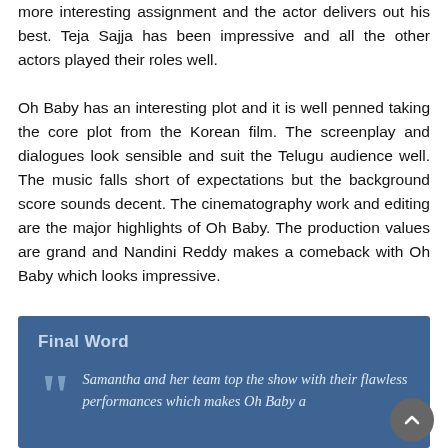more interesting assignment and the actor delivers out his best. Teja Sajja has been impressive and all the other actors played their roles well.
Oh Baby has an interesting plot and it is well penned taking the core plot from the Korean film. The screenplay and dialogues look sensible and suit the Telugu audience well. The music falls short of expectations but the background score sounds decent. The cinematography work and editing are the major highlights of Oh Baby. The production values are grand and Nandini Reddy makes a comeback with Oh Baby which looks impressive.
Final Word
Samantha and her team top the show with their flawless performances which makes Oh Baby a